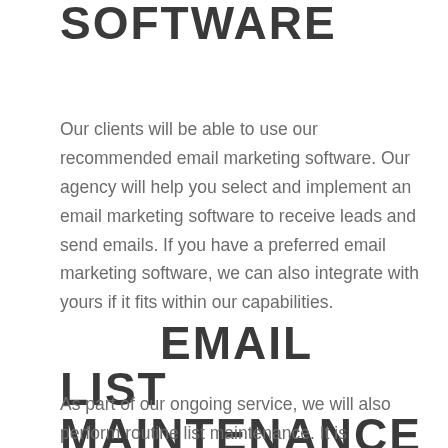SOFTWARE
Our clients will be able to use our recommended email marketing software. Our agency will help you select and implement an email marketing software to receive leads and send emails. If you have a preferred email marketing software, we can also integrate with yours if it fits within our capabilities.
EMAIL LIST MAINTENANCE
As part of our ongoing service, we will also perform routine list maintenance. It is important to remove unengaged subscribers from your email list. If your